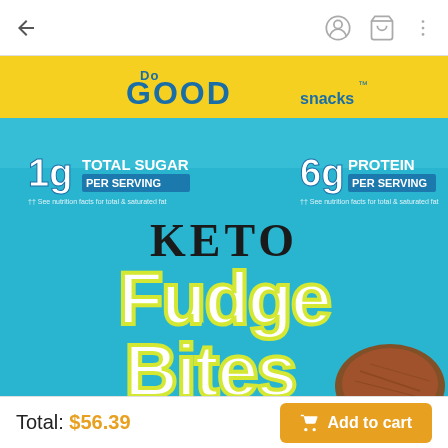[Figure (photo): Screenshot of a shopping app showing a product page for 'Do Good Snacks Keto Fudge Bites'. The product package is blue with yellow text. It shows '1g Total Sugar per serving' and '6g Protein per serving'. The bottom shows a total price of $56.39 and an 'Add to cart' button.]
Total: $56.39
Add to cart